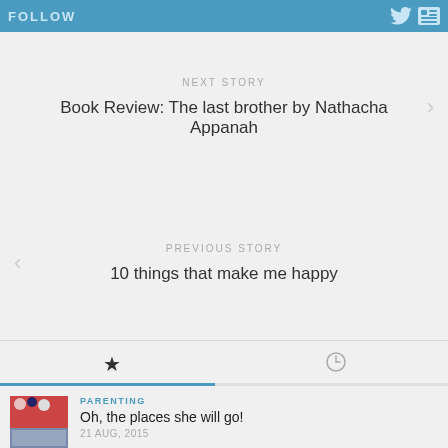FOLLOW
NEXT STORY
Book Review: The last brother by Nathacha Appanah
PREVIOUS STORY
10 things that make me happy
[Figure (screenshot): Favorites star tab and clock/history tab icons with blue underline on active tab]
[Figure (photo): Thumbnail image of balloons and party decorations]
PARENTING
Oh, the places she will go!
21 AUG, 2015